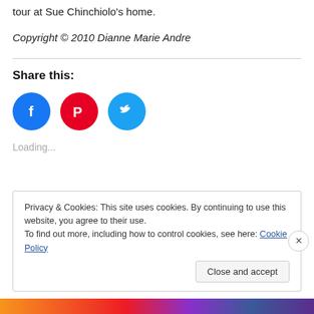tour at Sue Chinchiolo's home.
Copyright © 2010 Dianne Marie Andre
Share this:
[Figure (infographic): Three social media share buttons: Facebook (blue circle), Pinterest (red circle), Twitter (cyan circle)]
Loading...
Privacy & Cookies: This site uses cookies. By continuing to use this website, you agree to their use.
To find out more, including how to control cookies, see here: Cookie Policy
Close and accept